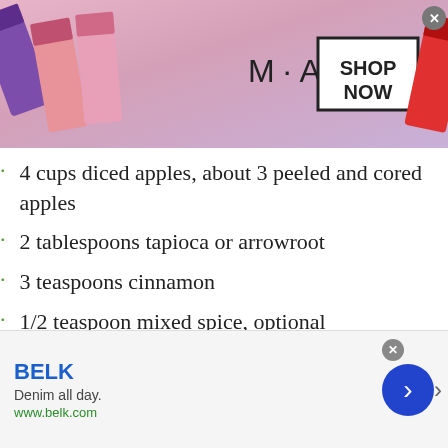[Figure (photo): MAC cosmetics advertisement banner with lipsticks in purple, pink, and red colors, MAC logo, and SHOP NOW button]
4 cups diced apples, about 3 peeled and cored apples
2 tablespoons tapioca or arrowroot
3 teaspoons cinnamon
1/2 teaspoon mixed spice, optional
1/3 cup caramel sauce, below
For the Caramel Sauce Topping:
[Figure (photo): BELK advertisement banner with text: BELK, Denim all day., www.belk.com, with a blue circle arrow button]